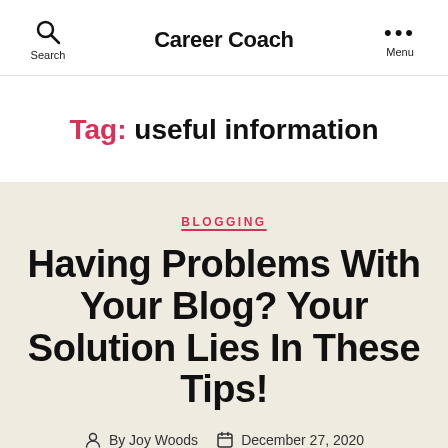Career Coach
Tag: useful information
BLOGGING
Having Problems With Your Blog? Your Solution Lies In These Tips!
By Joy Woods  December 27, 2020